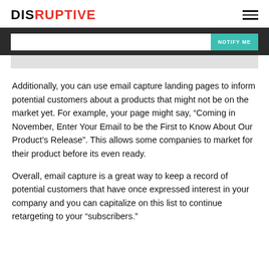DISRUPTIVE
[Figure (screenshot): Email capture bar with input field and teal NOTIFY ME button on dark background, with light grey image area below]
Additionally, you can use email capture landing pages to inform potential customers about a products that might not be on the market yet. For example, your page might say, “Coming in November, Enter Your Email to be the First to Know About Our Product’s Release”. This allows some companies to market for their product before its even ready.
Overall, email capture is a great way to keep a record of potential customers that have once expressed interest in your company and you can capitalize on this list to continue retargeting to your “subscribers.”